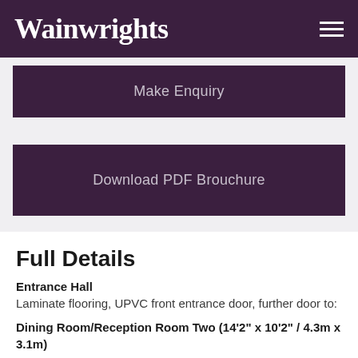Wainwrights
Make Enquiry
Download PDF Brouchure
Full Details
Entrance Hall
Laminate flooring, UPVC front entrance door, further door to:
Dining Room/Reception Room Two (14'2" x 10'2" / 4.3m x 3.1m)
Side aspect UPVC window (sealed unit), laminate